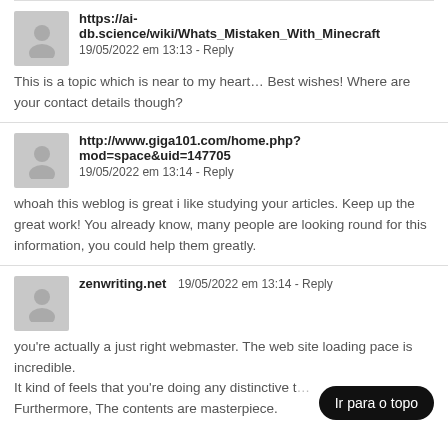https://ai-db.science/wiki/Whats_Mistaken_With_Minecraft — 19/05/2022 em 13:13 - Reply
This is a topic which is near to my heart… Best wishes! Where are your contact details though?
http://www.giga101.com/home.php?mod=space&uid=147705 — 19/05/2022 em 13:14 - Reply
whoah this weblog is great i like studying your articles. Keep up the great work! You already know, many people are looking round for this information, you could help them greatly.
zenwriting.net — 19/05/2022 em 13:14 - Reply
you're actually a just right webmaster. The web site loading pace is incredible. It kind of feels that you're doing any distinctive t… Furthermore, The contents are masterpiece.